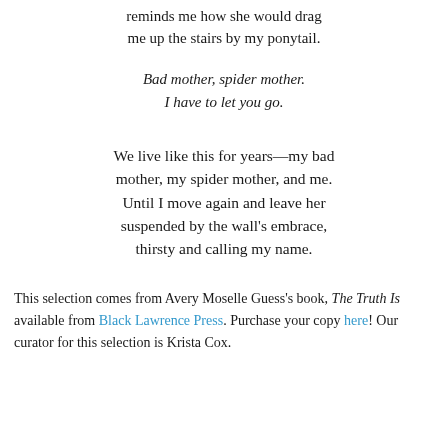reminds me how she would drag me up the stairs by my ponytail.
Bad mother, spider mother.
I have to let you go.
We live like this for years—my bad mother, my spider mother, and me. Until I move again and leave her suspended by the wall's embrace, thirsty and calling my name.
This selection comes from Avery Moselle Guess's book, The Truth Is available from Black Lawrence Press. Purchase your copy here! Our curator for this selection is Krista Cox.